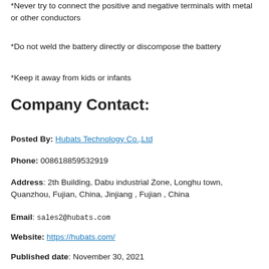*Never try to connect the positive and negative terminals with metal or other conductors
*Do not weld the battery directly or discompose the battery
*Keep it away from kids or infants
Company Contact:
Posted By: Hubats Technology Co.,Ltd
Phone: 008618859532919
Address: 2th Building, Dabu industrial Zone, Longhu town, Quanzhou, Fujian, China, Jinjiang , Fujian , China
Email: sales2@hubats.com
Website: https://hubats.com/
Published date: November 30, 2021
Business Description: Hubats Technology Co.,Ltd is a manufacturer of Ni-MH, Ni-CD, Li-ion, Li-polymer